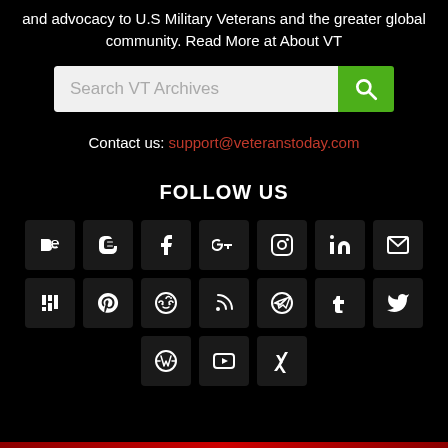and advocacy to U.S Military Veterans and the greater global community. Read More at About VT
[Figure (screenshot): Search bar with text 'Search VT Archives' and green search button]
Contact us: support@veteranstoday.com
FOLLOW US
[Figure (infographic): Grid of social media icons: Behance, Blogger, Facebook, Google+, Instagram, LinkedIn, Email, Mix, Pinterest, Reddit, RSS, Telegram, Tumblr, Twitter, WordPress, YouTube, Xing]